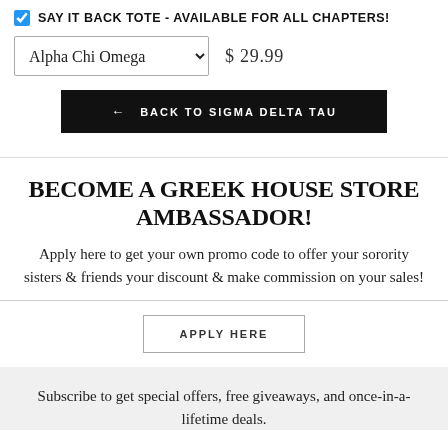SAY IT BACK TOTE - AVAILABLE FOR ALL CHAPTERS!
Alpha Chi Omega  $ 29.99
← BACK TO SIGMA DELTA TAU
BECOME A GREEK HOUSE STORE AMBASSADOR!
Apply here to get your own promo code to offer your sorority sisters & friends your discount & make commission on your sales!
APPLY HERE
Subscribe to get special offers, free giveaways, and once-in-a-lifetime deals.